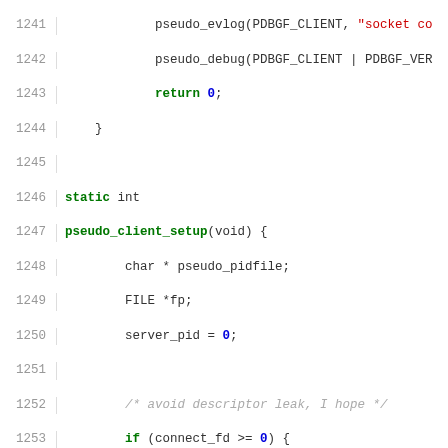[Figure (screenshot): Source code listing showing C function pseudo_client_setup with syntax highlighting, lines 1241-1270]